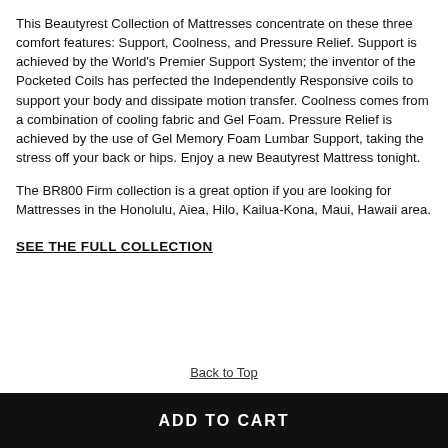This Beautyrest Collection of Mattresses concentrate on these three comfort features: Support, Coolness, and Pressure Relief. Support is achieved by the World's Premier Support System; the inventor of the Pocketed Coils has perfected the Independently Responsive coils to support your body and dissipate motion transfer. Coolness comes from a combination of cooling fabric and Gel Foam. Pressure Relief is achieved by the use of Gel Memory Foam Lumbar Support, taking the stress off your back or hips. Enjoy a new Beautyrest Mattress tonight.
The BR800 Firm collection is a great option if you are looking for Mattresses in the Honolulu, Aiea, Hilo, Kailua-Kona, Maui, Hawaii area.
SEE THE FULL COLLECTION
Back to Top
ADD TO CART